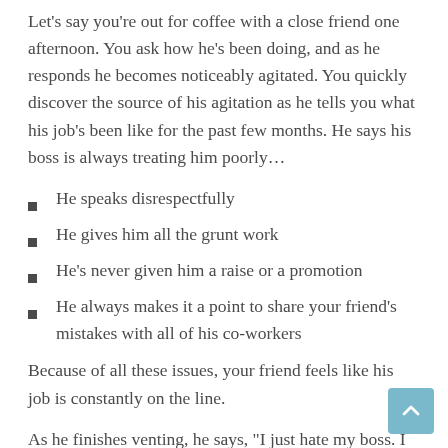Let’s say you’re out for coffee with a close friend one afternoon. You ask how he’s been doing, and as he responds he becomes noticeably agitated. You quickly discover the source of his agitation as he tells you what his job’s been like for the past few months. He says his boss is always treating him poorly…
He speaks disrespectfully
He gives him all the grunt work
He’s never given him a raise or a promotion
He always makes it a point to share your friend’s mistakes with all of his co-workers
Because of all these issues, your friend feels like his job is constantly on the line.
As he finishes venting, he says, “I just hate my boss. I can’t help but get angry whenever I think about him.”
Now, when you hear all of this, your heart goes out to your